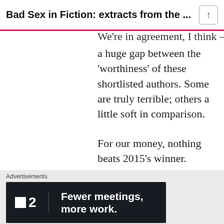Bad Sex in Fiction: extracts from the ...
We're in agreement, I think – there's certainly a huge gap between the 'worthiness' of these shortlisted authors. Some are truly terrible; others a little soft in comparison.

For our money, nothing beats 2015's winner. Morrissey.
Like
REPLY
Advertisements
[Figure (other): Dark advertisement banner for Fewer meetings, more work product with logo showing a square and number 2]